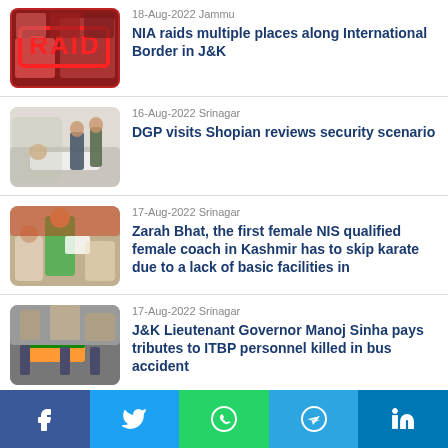[Figure (photo): News thumbnail showing a red 'RAID' stamp overlay on a photo collage]
18-Aug-2022 Jammu
NIA raids multiple places along International Border in J&K
[Figure (photo): News thumbnail showing police/security personnel near a person on a hospital bed]
16-Aug-2022 Srinagar
DGP visits Shopian reviews security scenario
[Figure (photo): News thumbnail showing a woman in colorful attire receiving an award]
17-Aug-2022 Srinagar
Zarah Bhat, the first female NIS qualified female coach in Kashmir has to skip karate due to a lack of basic facilities in
[Figure (photo): News thumbnail showing a funeral procession with people carrying a flag-draped coffin]
17-Aug-2022 Srinagar
J&K Lieutenant Governor Manoj Sinha pays tributes to ITBP personnel killed in bus accident